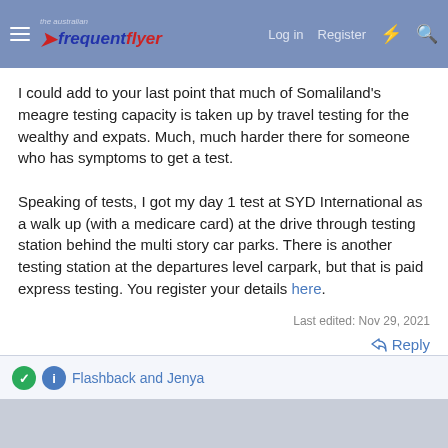the australian frequent flyer — Log in  Register
I could add to your last point that much of Somaliland's meagre testing capacity is taken up by travel testing for the wealthy and expats. Much, much harder there for someone who has symptoms to get a test.

Speaking of tests, I got my day 1 test at SYD International as a walk up (with a medicare card) at the drive through testing station behind the multi story car parks. There is another testing station at the departures level carpark, but that is paid express testing. You register your details here.
Last edited: Nov 29, 2021
↩ Reply
Flashback and Jenya